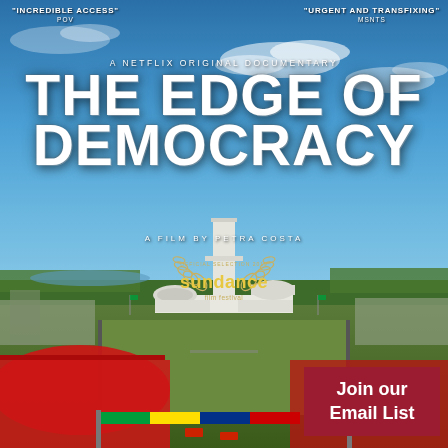INCREDIBLE ACCESS — POV
URGENT and TRANSFIXING — MSNTS
A NETFLIX ORIGINAL DOCUMENTARY
THE EDGE OF DEMOCRACY
A FILM BY PETRA COSTA
[Figure (logo): Sundance Film Festival official selection laurel badge]
[Figure (photo): Aerial view of the Brazilian National Congress building in Brasília with large crowds gathered on the plaza below, taken from above showing the iconic twin towers, dome structures, and expansive esplanade with red-colored crowds and colorful flags in the foreground]
Join our Email List